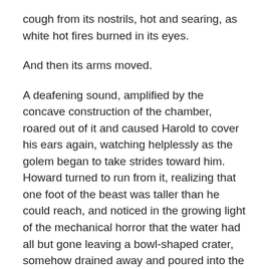cough from its nostrils, hot and searing, as white hot fires burned in its eyes.
And then its arms moved.
A deafening sound, amplified by the concave construction of the chamber, roared out of it and caused Harold to cover his ears again, watching helplessly as the golem began to take strides toward him. Howard turned to run from it, realizing that one foot of the beast was taller than he could reach, and noticed in the growing light of the mechanical horror that the water had all but gone leaving a bowl-shaped crater, somehow drained away and poured into the impossible machine.
It began to stomp forward, each step nearly shaking Howard to the ground, and he could not rationalize what